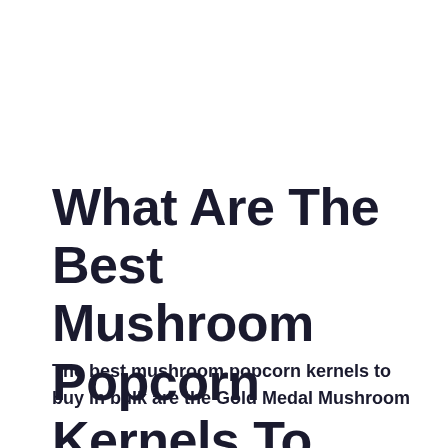What Are The Best Mushroom Popcorn Kernels To Buy In Bulk?
The best mushroom popcorn kernels to buy in bulk are the Gold Medal Mushroom